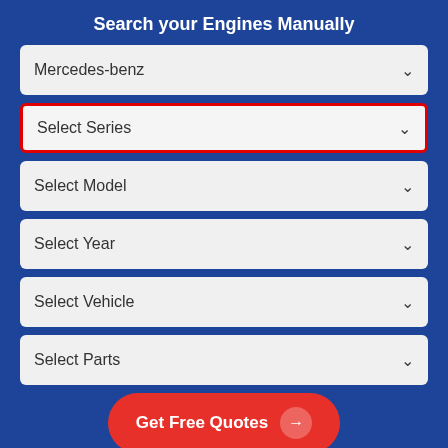Search your Engines Manually
Mercedes-benz
Select Series
Select Model
Select Year
Select Vehicle
Select Parts
Get Free Quotes
All Genuine Parts Fitted